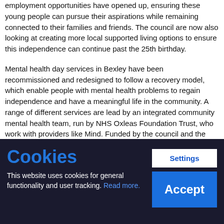employment opportunities have opened up, ensuring these young people can pursue their aspirations while remaining connected to their families and friends. The council are now also looking at creating more local supported living options to ensure this independence can continue past the 25th birthday.
Mental health day services in Bexley have been recommissioned and redesigned to follow a recovery model, which enable people with mental health problems to regain independence and have a meaningful life in the community. A range of different services are lead by an integrated community mental health team, run by NHS Oxleas Foundation Trust, who work with providers like Mind. Funded by the council and the CCG, Mind provides different preventative services such as a Recovery college, social prescribing
Cookies
This website uses cookies for general functionality and user tracking. Read more.